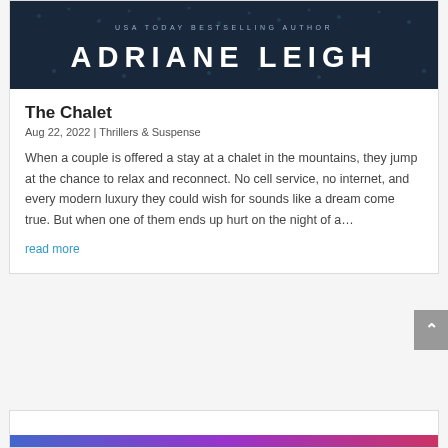[Figure (illustration): Dark blue textured book cover banner with text 'USA TODAY BESTSELLING AUTHOR' in small spaced caps and 'ADRIANE LEIGH' in large bold white letters]
The Chalet
Aug 22, 2022 | Thrillers & Suspense
When a couple is offered a stay at a chalet in the mountains, they jump at the chance to relax and reconnect. No cell service, no internet, and every modern luxury they could wish for sounds like a dream come true. But when one of them ends up hurt on the night of a…
read more